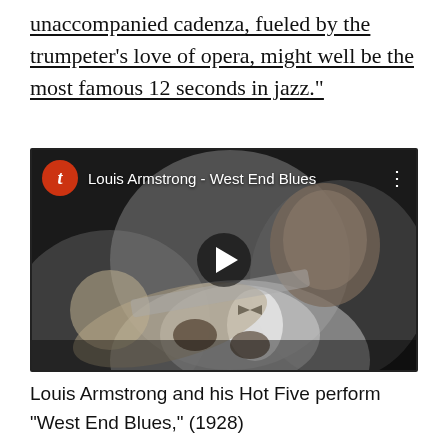unaccompanied cadenza, fueled by the trumpeter’s love of opera, might well be the most famous 12 seconds in jazz.”
[Figure (screenshot): YouTube-style video thumbnail showing Louis Armstrong playing trumpet in a black and white photograph, with a red channel icon showing 't', title 'Louis Armstrong - West End Blues', a play button in the center, and a three-dot menu icon.]
Louis Armstrong and his Hot Five perform “West End Blues,” (1928)